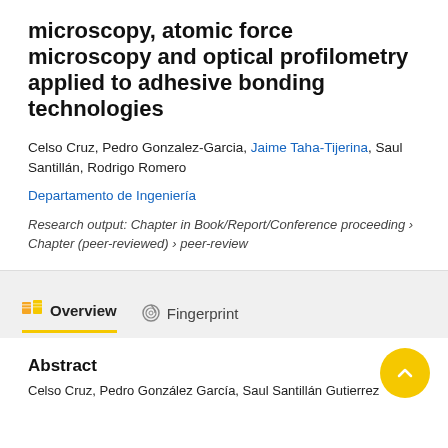microscopy, atomic force microscopy and optical profilometry applied to adhesive bonding technologies
Celso Cruz, Pedro Gonzalez-Garcia, Jaime Taha-Tijerina, Saul Santillán, Rodrigo Romero
Departamento de Ingeniería
Research output: Chapter in Book/Report/Conference proceeding › Chapter (peer-reviewed) › peer-review
Overview
Fingerprint
Abstract
Celso Cruz, Pedro González García, Saul Santillán Gutierrez